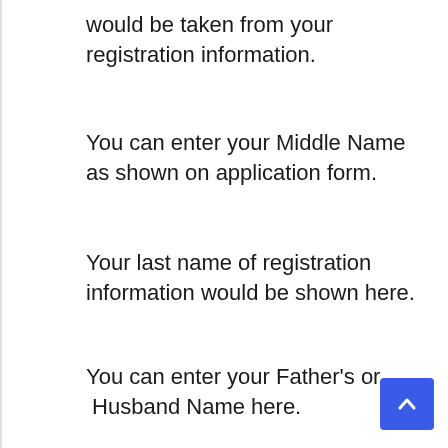would be taken from your registration information.
You can enter your Middle Name as shown on application form.
Your last name of registration information would be shown here.
You can enter your Father's or  Husband Name here.